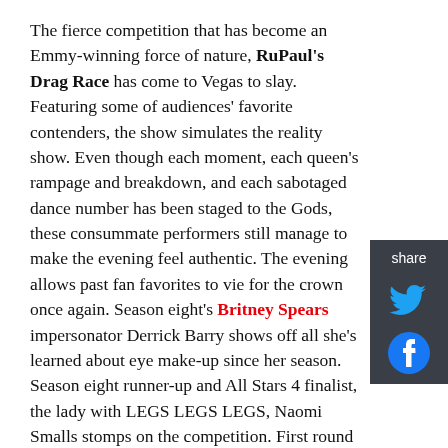The fierce competition that has become an Emmy-winning force of nature, RuPaul's Drag Race has come to Vegas to slay. Featuring some of audiences' favorite contenders, the show simulates the reality show. Even though each moment, each queen's rampage and breakdown, and each sabotaged dance number has been staged to the Gods, these consummate performers still manage to make the evening feel authentic. The evening allows past fan favorites to vie for the crown once again. Season eight's Britney Spears impersonator Derrick Barry shows off all she's learned about eye make-up since her season. Season eight runner-up and All Stars 4 finalist, the lady with LEGS LEGS LEGS, Naomi Smalls stomps on the competition. First round loser of Season 10 only to become a Meme sensation and a serious contender on season 11, Vanessa Vanjie Mateo proves that she grows more fabulous as a